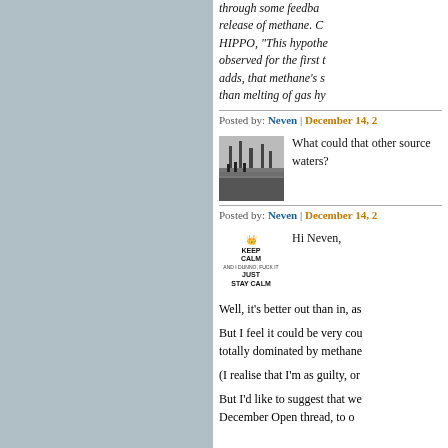through some feedba... release of methane. C... HIPPO, "This hypothe... observed for the first t... adds, that methane's s... than melting of gas hy...
Posted by: Neven | December 14, 2...
[Figure (photo): Black and white photo of people near water with industrial structures]
What could that other source... waters?
Posted by: Neven | December 14, 2...
[Figure (illustration): Keep Calm and Stay Calm parody poster]
Hi Neven,
Well, it's better out than in, as...
But I feel it could be very cou... totally dominated by methane...
(I realise that I'm as guilty, or...
But I'd like to suggest that we... December Open thread, to o...